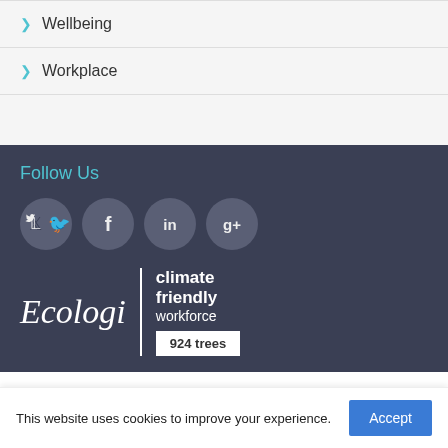Wellbeing
Workplace
Follow Us
[Figure (infographic): Four social media icons in grey circles: Twitter (bird), Facebook (f), LinkedIn (in), Google+ (g+)]
[Figure (logo): Ecologi climate friendly workforce badge showing 924 trees]
This website uses cookies to improve your experience.